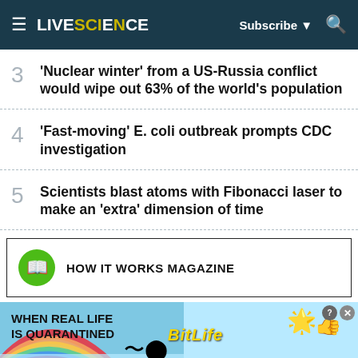LIVE SCIENCE — Subscribe | Search
3 'Nuclear winter' from a US-Russia conflict would wipe out 63% of the world's population
4 'Fast-moving' E. coli outbreak prompts CDC investigation
5 Scientists blast atoms with Fibonacci laser to make an 'extra' dimension of time
[Figure (logo): HOW IT WORKS MAGAZINE promo box with green book icon]
[Figure (photo): BitLife advertisement banner: 'When Real Life Is Quarantined' with rainbow background, sperm emoji, BitLife logo, emoji characters]